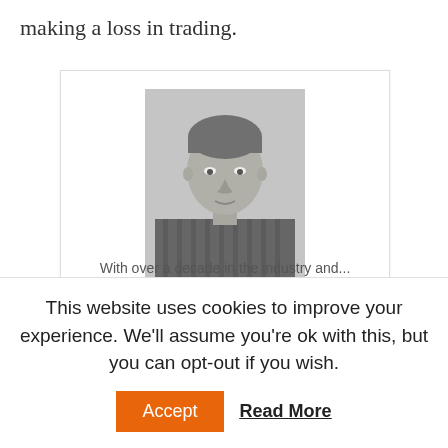making a loss in trading.
[Figure (photo): Black and white headshot photo of Steffen Droll, a man in a striped shirt]
Steffen Droll
Steff has been actively researching the financial services, trading and Forex industries for several years.
[cut-off text partially visible]
This website uses cookies to improve your experience. We'll assume you're ok with this, but you can opt-out if you wish. Accept  Read More